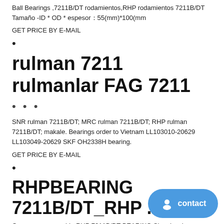Ball Bearings ,7211B/DT rodamientos,RHP rodamientos 7211B/DT Tamaño -ID * OD * espesor：55(mm)*100(mm
GET PRICE BY E-MAIL
•
rulman 7211 rulmanlar FAG 7211
• • •
SNR rulman 7211B/DT; MRC rulman 7211B/DT; RHP rulman 7211B/DT; makale. Bearings order to Vietnam LL103010-20629 LL103049-20629 SKF OH2338H bearing.
GET PRICE BY E-MAIL
•
RHPBEARING 7211B/DT_RHP ...
Our company provide RHP 7211B/DT BEARING Size drawing model parameters of the query：RHP 7211B/DT BEARING ...
GET PRICE BY E-MAIL